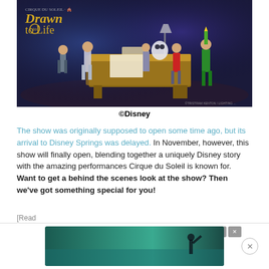[Figure (photo): Stage photo of Cirque du Soleil 'Drawn to Life' show featuring performers in costume around a large drawing desk on a theatrical blue-lit stage. The show logo 'Drawn to Life' appears in the top left corner.]
©Disney
The show was originally supposed to open some time ago, but its arrival to Disney Springs was delayed. In November, however, this show will finally open, blending together a uniquely Disney story with the amazing performances Cirque du Soleil is known for. Want to get a behind the scenes look at the show? Then we've got something special for you!
[Figure (other): Advertisement banner: 'The beach Now at 10% off' with a beach silhouette background, orange circular icon with arrow, and control buttons.]